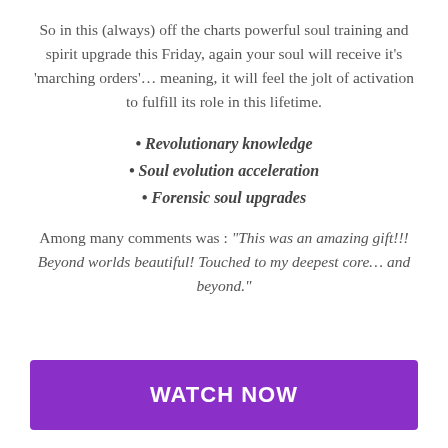So in this (always) off the charts powerful soul training and spirit upgrade this Friday, again your soul will receive it's 'marching orders'… meaning, it will feel the jolt of activation to fulfill its role in this lifetime.
Revolutionary knowledge
Soul evolution acceleration
Forensic soul upgrades
Among many comments was : "This was an amazing gift!!! Beyond worlds beautiful! Touched to my deepest core… and beyond."
WATCH NOW